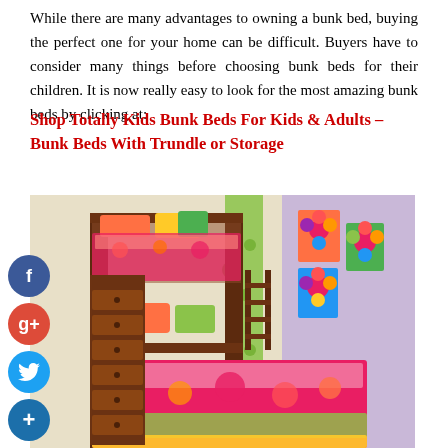While there are many advantages to owning a bunk bed, buying the perfect one for your home can be difficult. Buyers have to consider many things before choosing bunk beds for their children. It is now really easy to look for the most amazing bunk beds by clicking at:
Shop Totally Kids Bunk Beds For Kids & Adults – Bunk Beds With Trundle or Storage
[Figure (photo): Photo of a children's bunk bed with dark wood frame, colorful floral bedding, built-in drawer steps, a ladder, green curtains in the background, and floral wall art on a purple wall.]